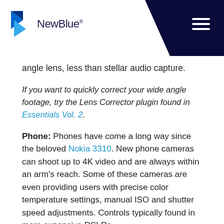NewBlue
angle lens, less than stellar audio capture.
If you want to quickly correct your wide angle footage, try the Lens Corrector plugin found in Essentials Vol. 2.
Phone: Phones have come a long way since the beloved Nokia 3310. New phone cameras can shoot up to 4K video and are always within an arm's reach. Some of these cameras are even providing users with precise color temperature settings, manual ISO and shutter speed adjustments. Controls typically found in more expensive DSLRs.
The big winners here are the LG V10 or the iPhone 6 (if Android is not your thing).